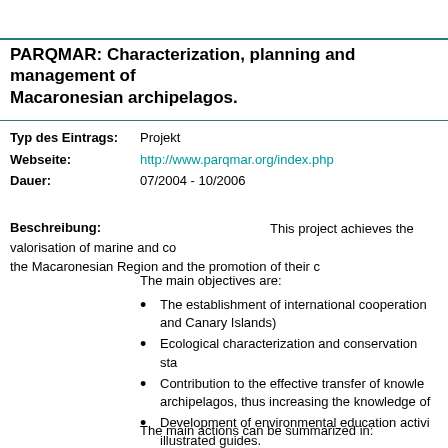PARQMAR: Characterization, planning and management of Macaronesian archipelagos.
Typ des Eintrags: Projekt
Webseite: http://www.parqmar.org/index.php
Dauer: 07/2004 - 10/2006
Beschreibung: This project achieves the valorisation of marine and coastal habitats of the Macaronesian Region and the promotion of their conservation.
The main objectives are:
The establishment of international cooperation (Madeira, Azores and Canary Islands)
Ecological characterization and conservation status
Contribution to the effective transfer of knowledge between archipelagos, thus increasing the knowledge of the region
Development of environmental education activities including illustrated guides.
The main actions can be summarized in: